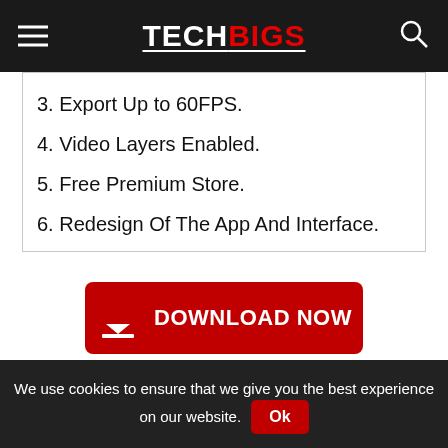TECHBIGS
3. Export Up to 60FPS.
4. Video Layers Enabled.
5. Free Premium Store.
6. Redesign Of The App And Interface.
[Figure (other): Red DOWNLOAD NOW button with download icon]
[Figure (other): Social share buttons: Facebook, Twitter, Pinterest, Reddit, Share]
We use cookies to ensure that we give you the best experience on our website. Ok